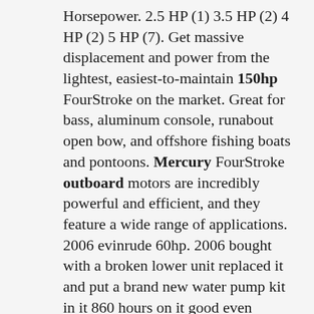Horsepower. 2.5 HP (1) 3.5 HP (2) 4 HP (2) 5 HP (7). Get massive displacement and power from the lightest, easiest-to-maintain 150hp FourStroke on the market. Great for bass, aluminum console, runabout open bow, and offshore fishing boats and pontoons. Mercury FourStroke outboard motors are incredibly powerful and efficient, and they feature a wide range of applications. 2006 evinrude 60hp. 2006 bought with a broken lower unit replaced it and put a brand new water pump kit in it 860 hours on it good even compression have a side mount control or a top mount your choice and a extra prop 2700 obo . New/used 150hp, 200hp, 115hp, 250hp, 100hp, 90hp, 50hp, 300hp, 400hp, 350hp, 225hp, 75hp, 175hp, 40hp, 80hp 4-STROKE OUTBOARD MOTOR (. Browse our used mercury outboard motors for sale collection and choose from a